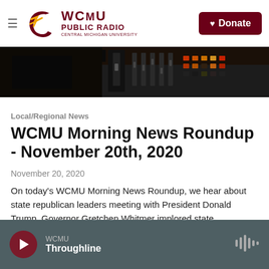WCMU Public Radio - Central Michigan University | Donate
[Figure (photo): Radio studio mixing board/equipment, cropped header image]
Local/Regional News
WCMU Morning News Roundup - November 20th, 2020
November 20, 2020
On today's WCMU Morning News Roundup, we hear about state republican leaders meeting with President Donald Trump. Governor Gretchen Whitmer implored state…
LISTEN • 4:22
WCMU Throughline